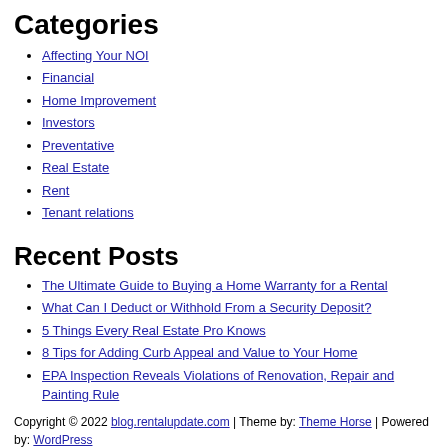Categories
Affecting Your NOI
Financial
Home Improvement
Investors
Preventative
Real Estate
Rent
Tenant relations
Recent Posts
The Ultimate Guide to Buying a Home Warranty for a Rental
What Can I Deduct or Withhold From a Security Deposit?
5 Things Every Real Estate Pro Knows
8 Tips for Adding Curb Appeal and Value to Your Home
EPA Inspection Reveals Violations of Renovation, Repair and Painting Rule
Copyright © 2022 blog.rentalupdate.com | Theme by: Theme Horse | Powered by: WordPress